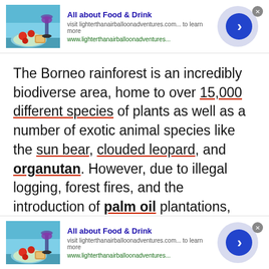[Figure (screenshot): Ad banner for 'All about Food & Drink' with food image, text, arrow button, and close button]
The Borneo rainforest is an incredibly biodiverse area, home to over 15,000 different species of plants as well as a number of exotic animal species like the sun bear, clouded leopard, and organutan. However, due to illegal logging, forest fires, and the introduction of palm oil plantations, Borneo lost more than 1.2 million hectares of rainforest per year between 1997 and 2000.
[Figure (screenshot): Second ad banner for 'All about Food & Drink' with food image, text, arrow button, and close button]